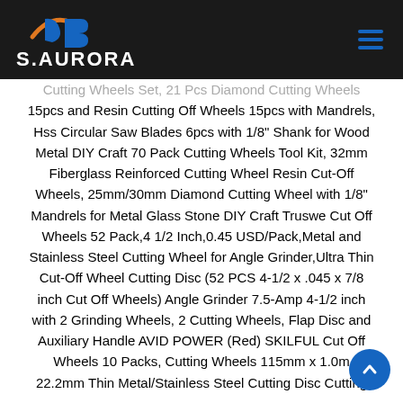[Figure (logo): S.AURORA brand logo with stylized 'dS' icon in blue and orange on dark background header bar, with hamburger menu icon on right]
Cutting Wheels Set, 21 Pcs Diamond Cutting Wheels 15pcs and Resin Cutting Off Wheels 15pcs with Mandrels, Hss Circular Saw Blades 6pcs with 1/8" Shank for Wood Metal DIY Craft 70 Pack Cutting Wheels Tool Kit, 32mm Fiberglass Reinforced Cutting Wheel Resin Cut-Off Wheels, 25mm/30mm Diamond Cutting Wheel with 1/8" Mandrels for Metal Glass Stone DIY Craft Truswe Cut Off Wheels 52 Pack,4 1/2 Inch,0.45 USD/Pack,Metal and Stainless Steel Cutting Wheel for Angle Grinder,Ultra Thin Cut-Off Wheel Cutting Disc (52 PCS 4-1/2 x .045 x 7/8 inch Cut Off Wheels) Angle Grinder 7.5-Amp 4-1/2 inch with 2 Grinding Wheels, 2 Cutting Wheels, Flap Disc and Auxiliary Handle AVID POWER (Red) SKILFUL Cut Off Wheels 10 Packs, Cutting Wheels 115mm x 1.0mm x 22.2mm Thin Metal/Stainless Steel Cutting Disc Cutting